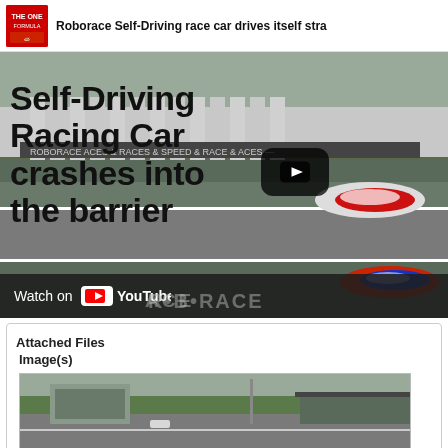[Figure (screenshot): YouTube video thumbnail showing Roborace self-driving racing car with overlay text 'Self-Driving Racing Car crashes into the barrier', with Watch on YouTube bar at bottom and channel logo at top]
Attached Files
Image(s)
[Figure (photo): Photo of a racing circuit pit lane area with buildings in background, overcast sky]